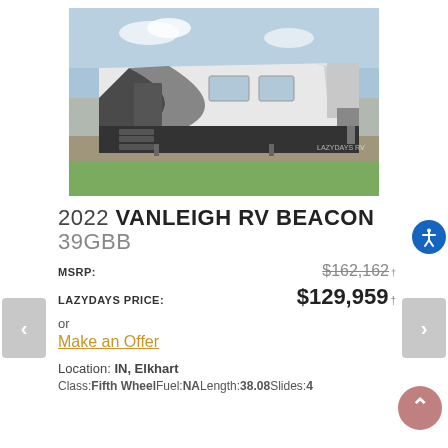[Figure (photo): Exterior photo of a 2022 Vanleigh RV Beacon fifth wheel trailer, white and black, parked on gravel with grass in background, showing entrance steps and hitch]
2022 VANLEIGH RV BEACON 39GBB
MSRP: $162,162 †
LAZYDAYS PRICE: $129,959 †
or
Make an Offer
Location: IN, Elkhart
Class:Fifth WheelFuel:NALength:38.08Slides:4